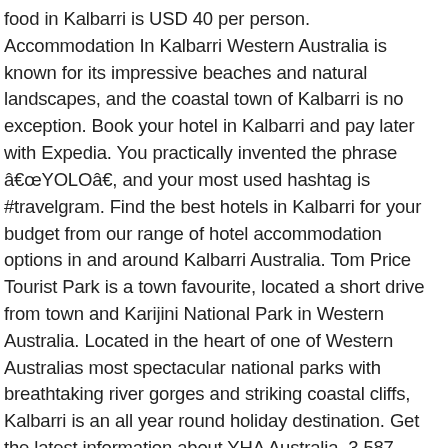food in Kalbarri is USD 40 per person. Accommodation In Kalbarri Western Australia is known for its impressive beaches and natural landscapes, and the coastal town of Kalbarri is no exception. Book your hotel in Kalbarri and pay later with Expedia. You practically invented the phrase â€œYOLOâ€, and your most used hashtag is #travelgram. Find the best hotels in Kalbarri for your budget from our range of hotel accommodation options in and around Kalbarri Australia. Tom Price Tourist Park is a town favourite, located a short drive from town and Karijini National Park in Western Australia. Located in the heart of one of Western Australias most spectacular national parks with breathtaking river gorges and striking coastal cliffs, Kalbarri is an all year round holiday destination. Get the latest information about YHA Australia. 3,587 reviews. Visiting Kalbarri. The world canâ€™t box you in with hashtags, thatâ€™s for sure! Kalbarri Edge Resort. Stargazing at Kalbarri Skywalk with D'Guy Charters. Kalbarri is known for its riverfront, parks, and beaches. The #1 Best Value of 30 places to stay in Kalbarri. Book a great hotel in Kalbarri,